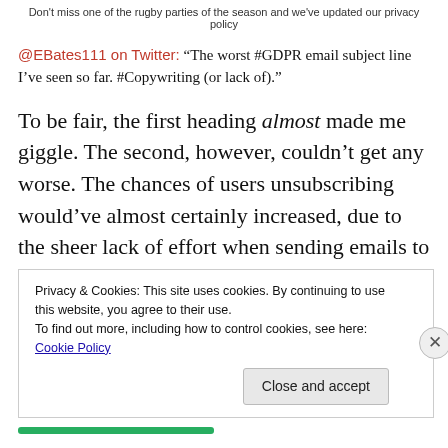Don't miss one of the rugby parties of the season and we've updated our privacy policy
@EBates111 on Twitter: “The worst #GDPR email subject line I’ve seen so far. #Copywriting (or lack of).”
To be fair, the first heading almost made me giggle. The second, however, couldn’t get any worse. The chances of users unsubscribing would’ve almost certainly increased, due to the sheer lack of effort when sending emails to their customers!
Privacy & Cookies: This site uses cookies. By continuing to use this website, you agree to their use.
To find out more, including how to control cookies, see here: Cookie Policy